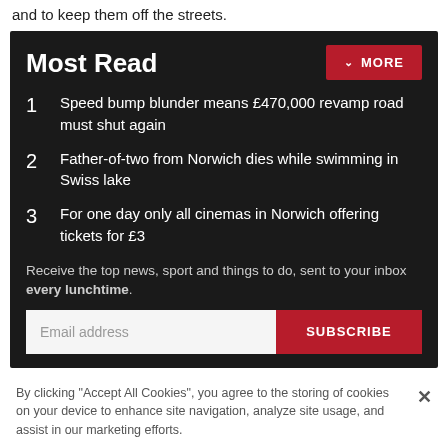and to keep them off the streets.
Most Read
Speed bump blunder means £470,000 revamp road must shut again
Father-of-two from Norwich dies while swimming in Swiss lake
For one day only all cinemas in Norwich offering tickets for £3
Receive the top news, sport and things to do, sent to your inbox every lunchtime.
By clicking "Accept All Cookies", you agree to the storing of cookies on your device to enhance site navigation, analyze site usage, and assist in our marketing efforts.